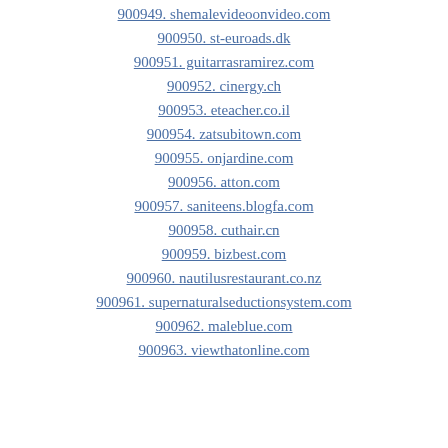900949. shemalevideoonvideo.com
900950. st-euroads.dk
900951. guitarrasramirez.com
900952. cinergy.ch
900953. eteacher.co.il
900954. zatsubitown.com
900955. onjardine.com
900956. atton.com
900957. saniteens.blogfa.com
900958. cuthair.cn
900959. bizbest.com
900960. nautilusrestaurant.co.nz
900961. supernaturalseductionsystem.com
900962. maleblue.com
900963. viewthatonline.com